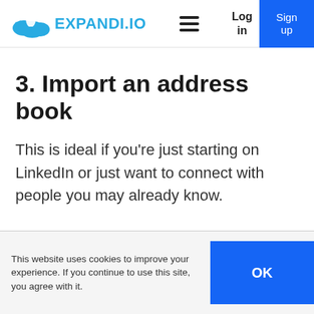EXPANDI.IO
3. Import an address book
This is ideal if you’re just starting on LinkedIn or just want to connect with people you may already know.
This website uses cookies to improve your experience. If you continue to use this site, you agree with it.